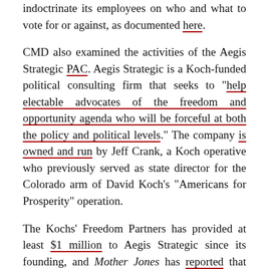indoctrinate its employees on who and what to vote for or against, as documented here.
CMD also examined the activities of the Aegis Strategic PAC. Aegis Strategic is a Koch-funded political consulting firm that seeks to "help electable advocates of the freedom and opportunity agenda who will be forceful at both the policy and political levels." The company is owned and run by Jeff Crank, a Koch operative who previously served as state director for the Colorado arm of David Koch's "Americans for Prosperity" operation.
The Kochs' Freedom Partners has provided at least $1 million to Aegis Strategic since its founding, and Mother Jones has reported that "People who've spoken with Crank about Aegis say he told them that the firm has access to the Kochs' formidable donor network."